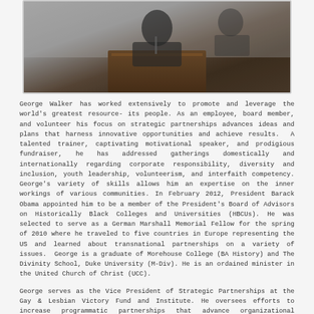[Figure (photo): Photo of George Walker speaking at a podium, partial view showing upper body and lectern with dark wood finish]
George Walker has worked extensively to promote and leverage the world's greatest resource- its people. As an employee, board member, and volunteer his focus on strategic partnerships advances ideas and plans that harness innovative opportunities and achieve results. A talented trainer, captivating motivational speaker, and prodigious fundraiser, he has addressed gatherings domestically and internationally regarding corporate responsibility, diversity and inclusion, youth leadership, volunteerism, and interfaith competency. George's variety of skills allows him an expertise on the inner workings of various communities. In February 2012, President Barack Obama appointed him to be a member of the President's Board of Advisors on Historically Black Colleges and Universities (HBCUs). He was selected to serve as a German Marshall Memorial Fellow for the spring of 2010 where he traveled to five countries in Europe representing the US and learned about transnational partnerships on a variety of issues. George is a graduate of Morehouse College (BA History) and The Divinity School, Duke University (M-Div). He is an ordained minister in the United Church of Christ (UCC).
George serves as the Vice President of Strategic Partnerships at the Gay & Lesbian Victory Fund and Institute. He oversees efforts to increase programmatic partnerships that advance organizational competencies and diversity goals among corporate, foundation, and other nonprofit partners on behalf of LGBT public leaders. Prior to this role, George served as the Vice President of Leadership Initiatives at Victory. Professionally, he has also served as development director for the American Constitution Society for Law and Policy; major gifts officer at the Human Rights Campaign; deputy operations director at the Center for Community Change; and associate director at the Peace